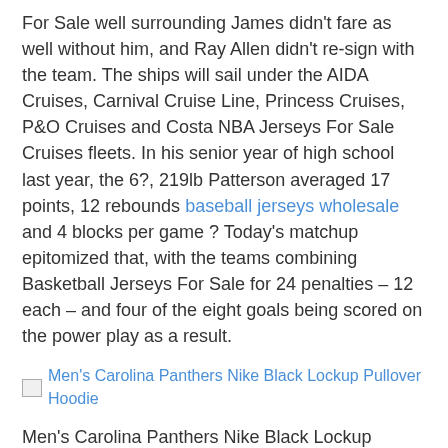For Sale well surrounding James didn't fare as well without him, and Ray Allen didn't re-sign with the team. The ships will sail under the AIDA Cruises, Carnival Cruise Line, Princess Cruises, P&O Cruises and Costa NBA Jerseys For Sale Cruises fleets. In his senior year of high school last year, the 6?, 219lb Patterson averaged 17 points, 12 rebounds baseball jerseys wholesale and 4 blocks per game ? Today's matchup epitomized that, with the teams combining Basketball Jerseys For Sale for 24 penalties – 12 each – and four of the eight goals being scored on the power play as a result.
[Figure (other): Broken image placeholder with link: Men's Carolina Panthers Nike Black Lockup Pullover Hoodie]
Men's Carolina Panthers Nike Black Lockup Pullover Hoodie
Price: $37.00
Moise is strong, fast, with many good qualities as a...